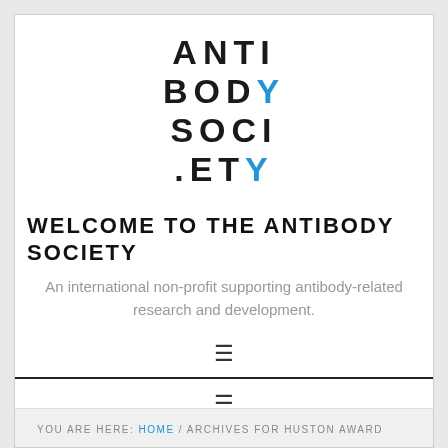[Figure (logo): Antibody Society logo — stacked block letters spelling ANTI / BODY / SOCI / .ETY with Y letters in blue]
WELCOME TO THE ANTIBODY SOCIETY
An international non-profit supporting antibody-related research and development.
YOU ARE HERE: HOME / ARCHIVES FOR HUSTON AWARD